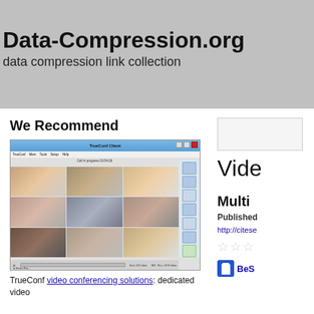Data-Compression.org
data compression link collection
We Recommend
[Figure (screenshot): TrueConf Client video conferencing software screenshot showing 9 participants with headsets in a grid layout]
TrueConf video conferencing solutions: dedicated video
Vide
Multi
Published
http://citese
BeS